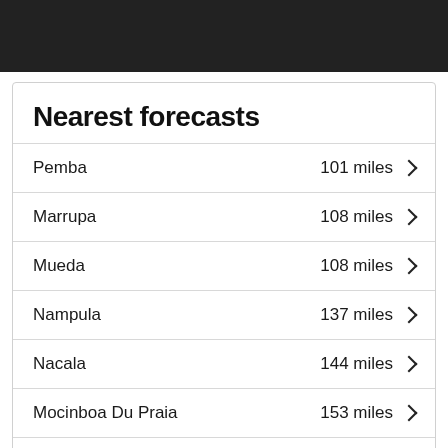Nearest forecasts
Pemba — 101 miles
Marrupa — 108 miles
Mueda — 108 miles
Nampula — 137 miles
Nacala — 144 miles
Mocinboa Du Praia — 153 miles
Mtwara — 213 miles